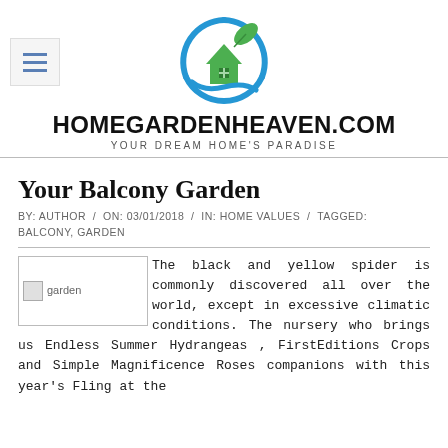[Figure (logo): HomeGardenHeaven.com circular logo with green leaf, house icon, and blue swoosh/hands]
HOMEGARDENHEAVEN.COM
YOUR DREAM HOME'S PARADISE
Your Balcony Garden
BY: AUTHOR / ON: 03/01/2018 / IN: HOME VALUES / TAGGED: BALCONY, GARDEN
[Figure (photo): garden image placeholder]
The black and yellow spider is commonly discovered all over the world, except in excessive climatic conditions. The nursery who brings us Endless Summer Hydrangeas , FirstEditions Crops and Simple Magnificence Roses companions with this year's Fling at the